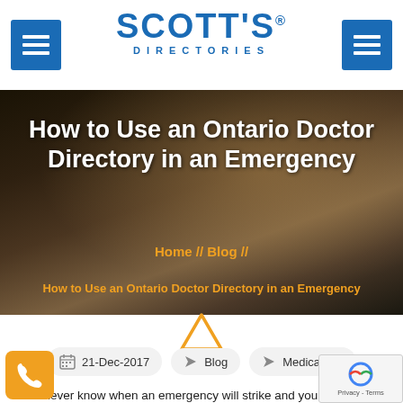SCOTT'S DIRECTORIES
[Figure (photo): Person typing on a laptop keyboard, close-up shot with warm bokeh background. Overlaid with title text and breadcrumb navigation.]
How to Use an Ontario Doctor Directory in an Emergency
Home // Blog // How to Use an Ontario Doctor Directory in an Emergency
21-Dec-2017  Blog  Medical
You never know when an emergency will strike and you or a family member will require medical attention. However, instead of rushing to the hospital, you may be able to find a doctor to treat your specific...